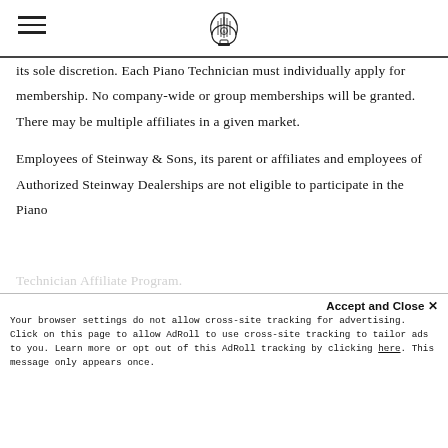[Steinway logo / navigation bar]
its sole discretion. Each Piano Technician must individually apply for membership. No company-wide or group memberships will be granted. There may be multiple affiliates in a given market.
Employees of Steinway & Sons, its parent or affiliates and employees of Authorized Steinway Dealerships are not eligible to participate in the Piano Technician Affiliate Program.
AGREEMENT
Accept and Close ✕
Your browser settings do not allow cross-site tracking for advertising. Click on this page to allow AdRoll to use cross-site tracking to tailor ads to you. Learn more or opt out of this AdRoll tracking by clicking here. This message only appears once.